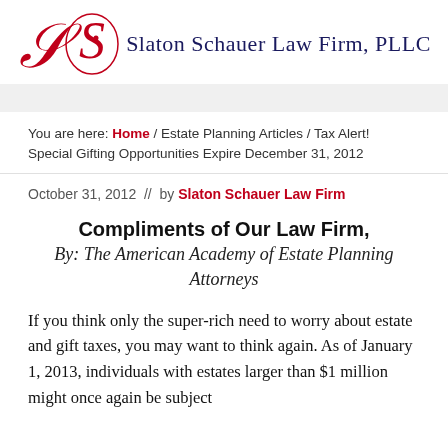[Figure (logo): Slaton Schauer Law Firm, PLLC logo with red stylized S and navy text]
You are here: Home / Estate Planning Articles / Tax Alert! Special Gifting Opportunities Expire December 31, 2012
October 31, 2012  //  by Slaton Schauer Law Firm
Compliments of Our Law Firm,
By: The American Academy of Estate Planning Attorneys
If you think only the super-rich need to worry about estate and gift taxes, you may want to think again. As of January 1, 2013, individuals with estates larger than $1 million might once again be subject